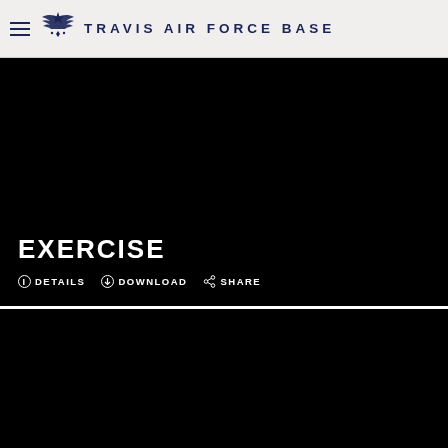TRAVIS AIR FORCE BASE
[Figure (photo): Black hero image area for Exercise page on Travis Air Force Base website]
EXERCISE
DETAILS  DOWNLOAD  SHARE
[Figure (photo): Second black image area on Travis Air Force Base website]